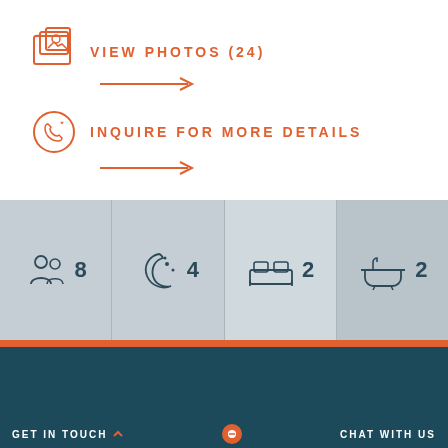VIEW PHOTOS (24)
INQUIRE FOR MORE DETAILS
[Figure (infographic): Property stats icons: 8 guests, 4 nights, 2 bedrooms, 2 bathrooms]
Your Grea...includes 4
GET IN TOUCH   CHAT WITH US